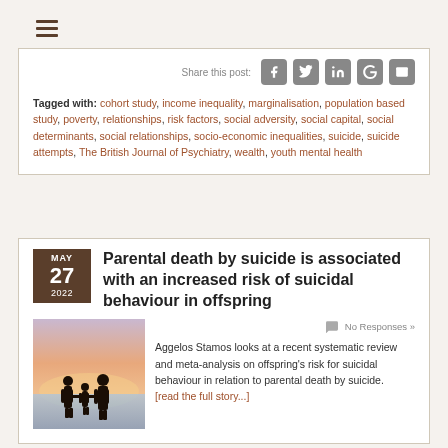[Figure (other): Hamburger/menu icon with three horizontal lines]
Share this post:
Tagged with: cohort study, income inequality, marginalisation, population based study, poverty, relationships, risk factors, social adversity, social capital, social determinants, social relationships, socio-economic inequalities, suicide, suicide attempts, The British Journal of Psychiatry, wealth, youth mental health
Parental death by suicide is associated with an increased risk of suicidal behaviour in offspring
[Figure (photo): Silhouette of a family (two adults and a child) holding hands against a sunset/dusk sky over water]
No Responses »
Aggelos Stamos looks at a recent systematic review and meta-analysis on offspring's risk for suicidal behaviour in relation to parental death by suicide. [read the full story...]